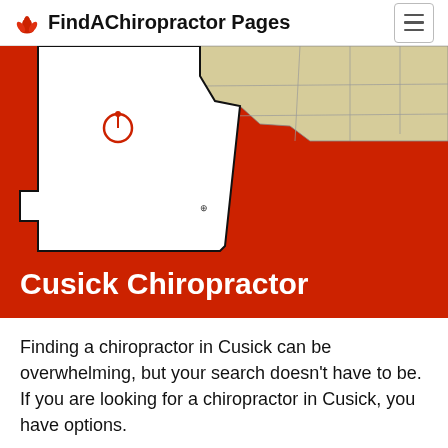FindAChiropractor Pages
[Figure (map): Red background map of Washington state region showing a white county outline (Pend Oreille County area) with a location pin marker, and a beige-colored adjacent county region visible in the upper right. The text 'Cusick Chiropractor' overlays the bottom of the map in white bold text.]
Cusick Chiropractor
Finding a chiropractor in Cusick can be overwhelming, but your search doesn’t have to be. If you are looking for a chiropractor in Cusick, you have options.